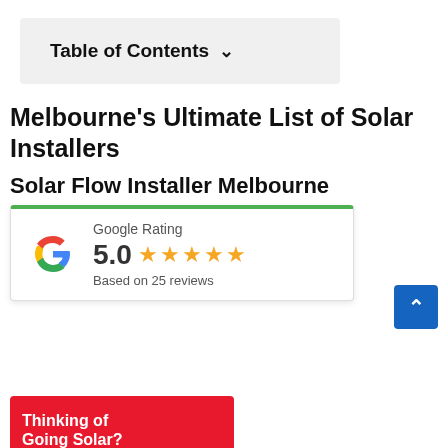Table of Contents ❯
Melbourne's Ultimate List of Solar Installers
Solar Flow Installer Melbourne
[Figure (infographic): Google Rating widget showing 5.0 stars based on 25 reviews, with Google 'G' logo, green top border, and white card background. Partially overlapping a website screenshot showing a solar company webpage with red navigation buttons and a solar panel image.]
Thinking of Going Solar?